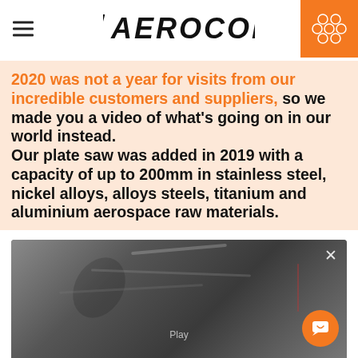AEROCOM
2020 was not a year for visits from our incredible customers and suppliers, so we made you a video of what's going on in our world instead. Our plate saw was added in 2019 with a capacity of up to 200mm in stainless steel, nickel alloys, alloys steels, titanium and aluminium aerospace raw materials.
[Figure (photo): Video thumbnail showing a close-up of industrial metalwork/cutting in progress, with a 'Play' label overlay and a close (X) button in the top right. An orange chat button with a smiley icon appears in the bottom right corner.]